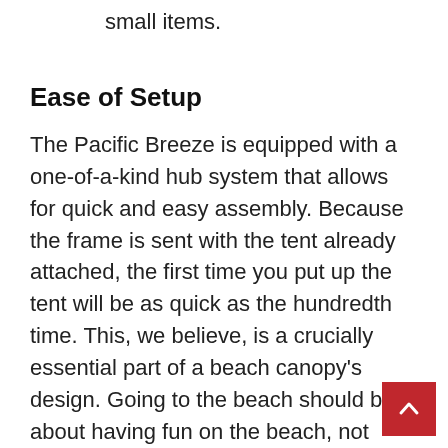with two compartments for storing small items.
Ease of Setup
The Pacific Breeze is equipped with a one-of-a-kind hub system that allows for quick and easy assembly. Because the frame is sent with the tent already attached, the first time you put up the tent will be as quick as the hundredth time. This, we believe, is a crucially essential part of a beach canopy's design. Going to the beach should be about having fun on the beach, not about battling with a difficult or time-consuming setup. Pacific Breeze is well-versed in and excels at this measure. Establishing a connection usually takes 20 seconds or less.